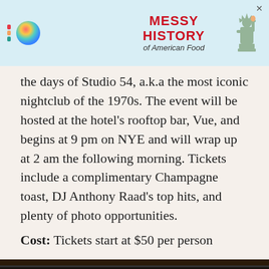[Figure (other): Advertisement banner with rainbow stripes logo, colorful orb, red bold text reading MESSY HISTORY of American Food, and Statue of Liberty graphic on light blue background]
the days of Studio 54, a.k.a the most iconic nightclub of the 1970s. The event will be hosted at the hotel's rooftop bar, Vue, and begins at 9 pm on NYE and will wrap up at 2 am the following morning. Tickets include a complimentary Champagne toast, DJ Anthony Raad's top hits, and plenty of photo opportunities.
Cost: Tickets start at $50 per person
[Figure (photo): Close-up photo of fish with lemon slices and herbs being grilled on a grill grate, with a hand visible at the bottom right]